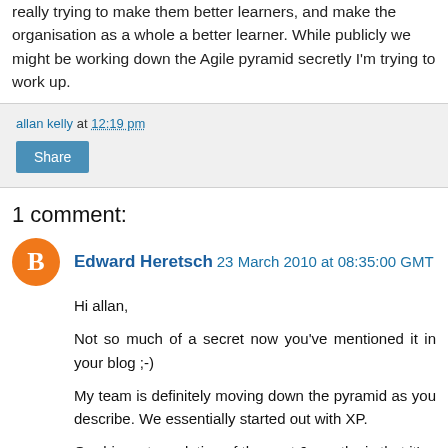really trying to make them better learners, and make the organisation as a whole a better learner. While publicly we might be working down the Agile pyramid secretly I'm trying to work up.
allan kelly at 12:19 pm
Share
1 comment:
Edward Heretsch 23 March 2010 at 08:35:00 GMT
Hi allan,
Not so much of a secret now you've mentioned it in your blog ;-)
My team is definitely moving down the pyramid as you describe. We essentially started out with XP.
Our biggest revelation of the past 6 months is that it's